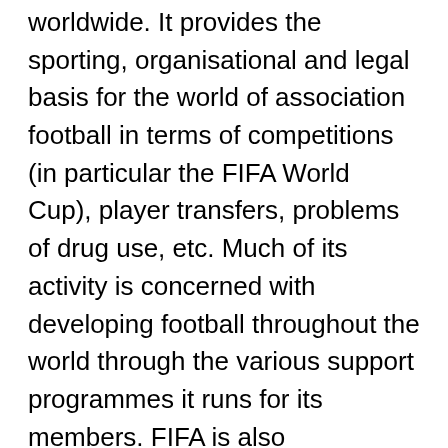worldwide. It provides the sporting, organisational and legal basis for the world of association football in terms of competitions (in particular the FIFA World Cup), player transfers, problems of drug use, etc. Much of its activity is concerned with developing football throughout the world through the various support programmes it runs for its members. FIFA is also responsible for changes to the rules of football, organising international matches and carrying out a range of administrative and financial functions. FIFA has more than 200 employees and 205 member associations.
FIFA information systems architect Daniel Kieser said, "It was after a visit to one of ITESOFT's clients, KIARL in Lille, that we took our decision